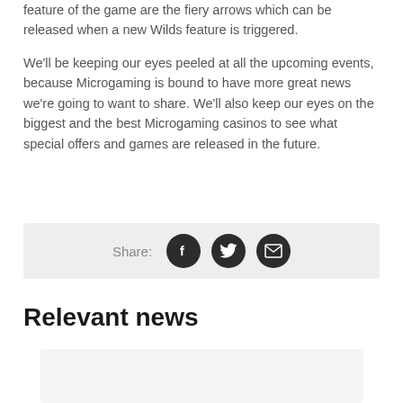feature of the game are the fiery arrows which can be released when a new Wilds feature is triggered.
We'll be keeping our eyes peeled at all the upcoming events, because Microgaming is bound to have more great news we're going to want to share. We'll also keep our eyes on the biggest and the best Microgaming casinos to see what special offers and games are released in the future.
[Figure (other): Share bar with Facebook, Twitter, and email icons]
Relevant news
[Figure (photo): News card placeholder image, light gray background]